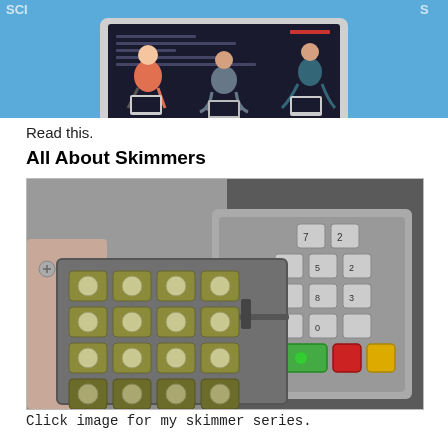[Figure (illustration): Blue banner showing a laptop with people sitting on it using smaller laptops, decorative banner illustration]
Read this.
All About Skimmers
[Figure (photo): Photo of an ATM PIN pad skimmer device being removed, showing a fake keypad overlay being pulled away from the real ATM keypad, revealing the hidden skimming device underneath with exposed keys]
Click image for my skimmer series.